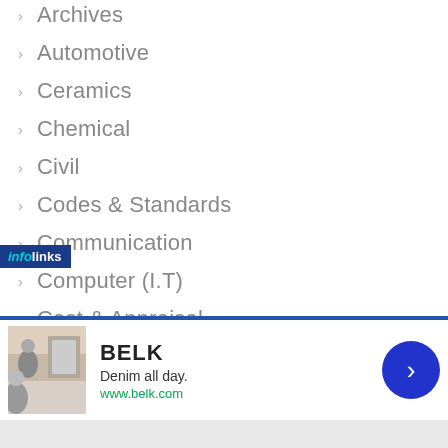Archives
Automotive
Ceramics
Chemical
Civil
Codes & Standards
Communication
Computer (I.T)
Cost & Appraisal
Electrical/Electronics
Entrepreneurship
[Figure (screenshot): Infolinks advertisement banner for BELK: 'Denim all day. www.belk.com' with navigation arrow button]